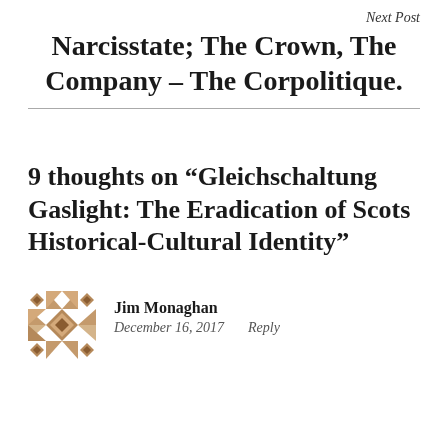Next Post
Narcisstate; The Crown, The Company – The Corpolitique.
9 thoughts on “Gleichschaltung Gaslight: The Eradication of Scots Historical-Cultural Identity”
[Figure (illustration): Geometric quilt-pattern avatar icon in brown/tan tones for user Jim Monaghan]
Jim Monaghan
December 16, 2017    Reply